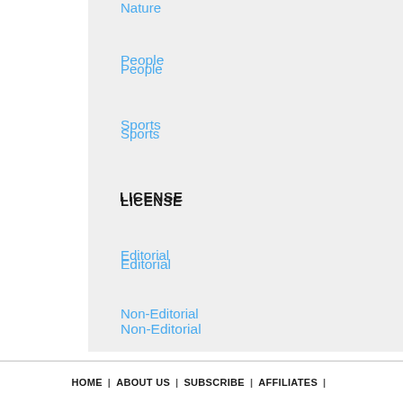Nature
People
Sports
LICENSE
Editorial
Non-Editorial
RESOLUTIONS
2K HD
4K UHD
8K SUHD
HOME | ABOUT US | SUBSCRIBE | AFFILIATES |